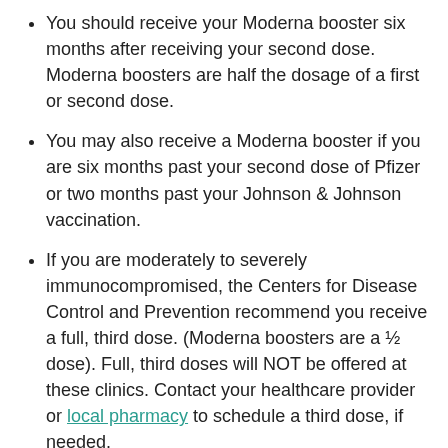You should receive your Moderna booster six months after receiving your second dose. Moderna boosters are half the dosage of a first or second dose.
You may also receive a Moderna booster if you are six months past your second dose of Pfizer or two months past your Johnson & Johnson vaccination.
If you are moderately to severely immunocompromised, the Centers for Disease Control and Prevention recommend you receive a full, third dose. (Moderna boosters are a ½ dose). Full, third doses will NOT be offered at these clinics. Contact your healthcare provider or local pharmacy to schedule a third dose, if needed.
Bring proof of vaccination if scheduling a second or booster dose. Forms of proof include a vaccination card or a copy of your vaccination record from Washington State